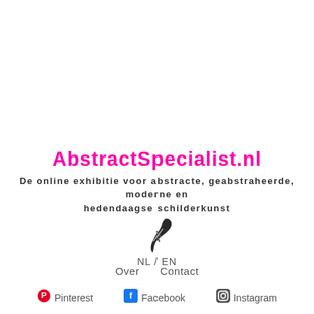AbstractSpecialist.nl
De online exhibitie voor abstracte, geabstraheerde, moderne en hedendaagse schilderkunst
[Figure (logo): Stylized quill/pen logo in dark color]
NL / EN
Over    Contact
Pinterest   Facebook   Instagram